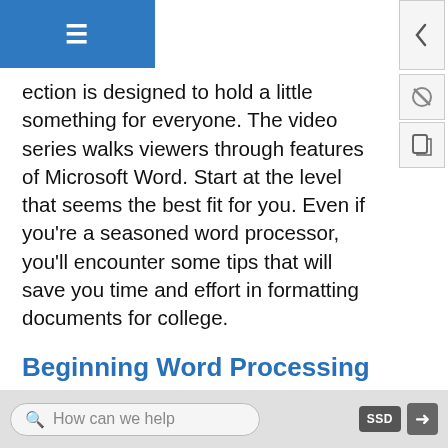ection is designed to hold a little something for everyone. The video series walks viewers through features of Microsoft Word. Start at the level that seems the best fit for you. Even if you’re a seasoned word processor, you’ll encounter some tips that will save you time and effort in formatting documents for college.
Beginning Word Processing Skills
Most writing you do for college will need to be typed, and often submitted electronically. Mastering the basics of word processing tools will make this process much more comfortable to do.
The most popular word processing program is